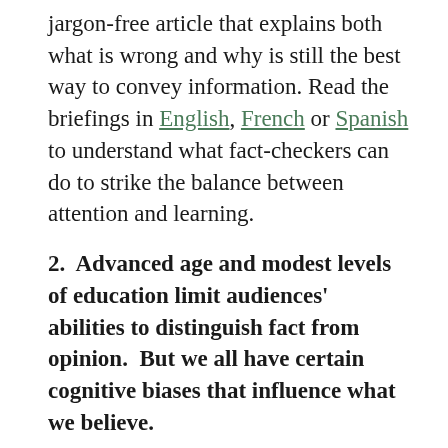jargon-free article that explains both what is wrong and why is still the best way to convey information. Read the briefings in English, French or Spanish to understand what fact-checkers can do to strike the balance between attention and learning.
2.  Advanced age and modest levels of education limit audiences' abilities to distinguish fact from opinion.  But we all have certain cognitive biases that influence what we believe.